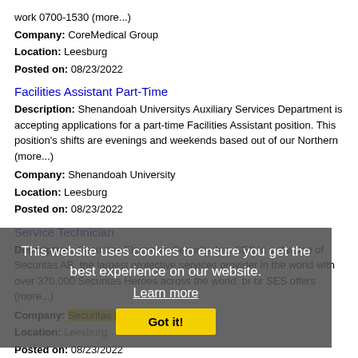work 0700-1530 (more...)
Company: CoreMedical Group
Location: Leesburg
Posted on: 08/23/2022
Facilities Assistant Part-Time
Description: Shenandoah Universitys Auxiliary Services Department is accepting applications for a part-time Facilities Assistant position. This position's shifts are evenings and weekends based out of our Northern (more...)
Company: Shenandoah University
Location: Leesburg
Posted on: 08/23/2022
Service Technician
Description: Securitas Electronic Security, Inc. SES is a division of Securitas AB, the largest protective services provider in the world with over 370,000 Securitas Heroes across the world. br br SES offers (more...)
Company: Securitas Electronic Security
Location: Leesburg
Posted on: 08/23/2022
Assistant Store Manager
This website uses cookies to ensure you get the best experience on our website. Learn more Got it!